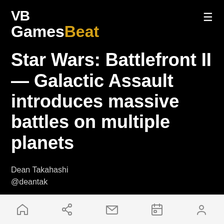VB GamesBeat
Star Wars: Battlefront II — Galactic Assault introduces massive battles on multiple planets
Dean Takahashi
@deantak
Navigation bar with home, share, email, calendar, and profile icons